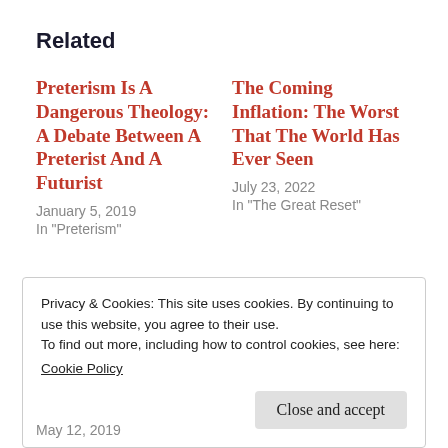Related
Preterism Is A Dangerous Theology: A Debate Between A Preterist And A Futurist
January 5, 2019
In "Preterism"
The Coming Inflation: The Worst That The World Has Ever Seen
July 23, 2022
In "The Great Reset"
Privacy & Cookies: This site uses cookies. By continuing to use this website, you agree to their use.
To find out more, including how to control cookies, see here:
Cookie Policy
Close and accept
May 12, 2019